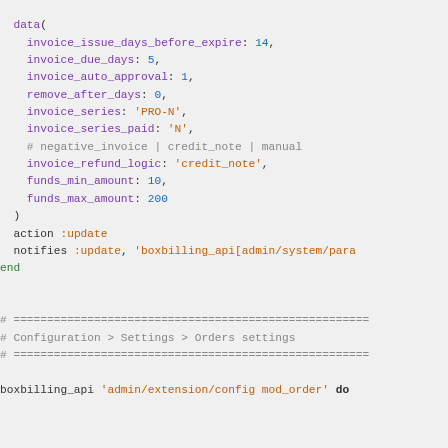code snippet showing Ruby/Chef configuration for invoice and boxbilling settings